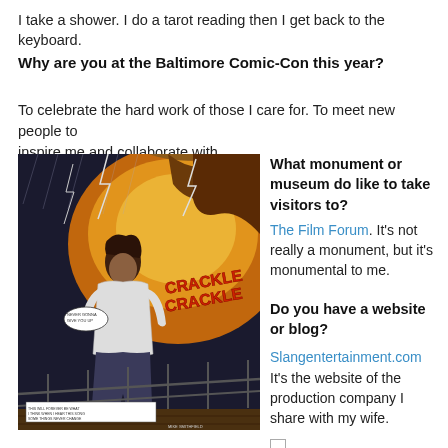I take a shower. I do a tarot reading then I get back to the keyboard.
Why are you at the Baltimore Comic-Con this year?
To celebrate the hard work of those I care for. To meet new people to inspire me and collaborate with.
[Figure (illustration): Comic book panel showing a man in a white t-shirt standing in a stormy scene with lightning and the words CRACKLE CRACKLE, orange and dark tones]
What monument or museum do like to take visitors to?
The Film Forum. It's not really a monument, but it's monumental to me.
Do you have a website or blog?
Slangentertainment.com It's the website of the production company I share with my wife.